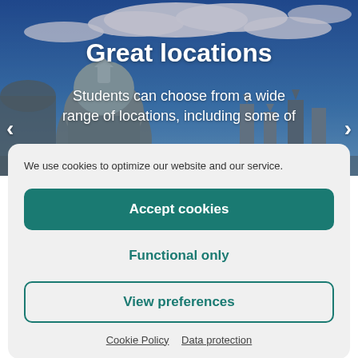[Figure (photo): Aerial or rooftop view of Oxford University buildings with dome and Gothic architecture under a blue sky with clouds. Text overlay reads 'Great locations' and 'Students can choose from a wide range of locations, including some of'. Navigation arrows visible on left and right.]
Great locations
Students can choose from a wide range of locations, including some of
We use cookies to optimize our website and our service.
Accept cookies
Functional only
View preferences
Cookie Policy   Data protection